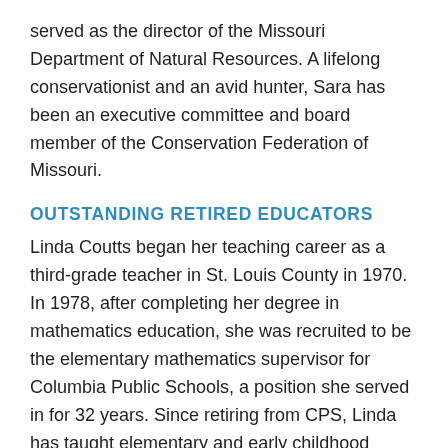served as the director of the Missouri Department of Natural Resources. A lifelong conservationist and an avid hunter, Sara has been an executive committee and board member of the Conservation Federation of Missouri.
OUTSTANDING RETIRED EDUCATORS
Linda Coutts began her teaching career as a third-grade teacher in St. Louis County in 1970. In 1978, after completing her degree in mathematics education, she was recruited to be the elementary mathematics supervisor for Columbia Public Schools, a position she served in for 32 years. Since retiring from CPS, Linda has taught elementary and early childhood mathematics methods at MU.
Darlene Huff began her career with Columbia Public Schools in 1980 as a school nurse, ultimately